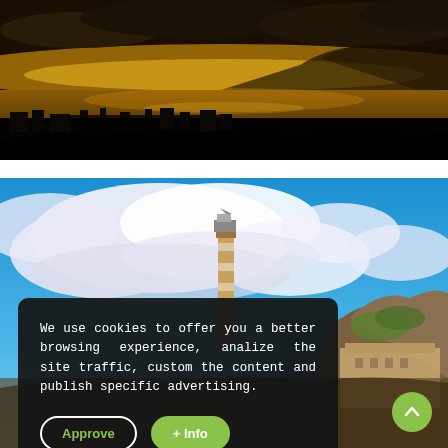[Figure (photo): Panoramic sunset view over a harbor and city with golden sky, dark clouds, and silhouetted hills in the background]
[Figure (photo): Bright blue sky with large white clouds, a tall lighthouse tower in the center, rocky coastal cliffs and a historic building on the right, blue sea visible]
We use cookies to offer you a better browsing experience, analize the site traffic, custom the content and publish specific advertising.
Approve
+ Info